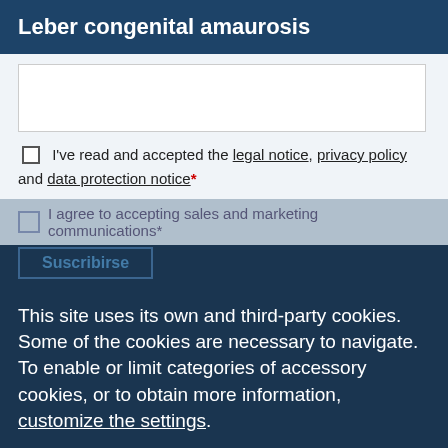Leber congenital amaurosis
I've read and accepted the legal notice, privacy policy and data protection notice*
I agree to accepting sales and marketing communications*
Suscribirse
This site uses its own and third-party cookies. Some of the cookies are necessary to navigate. To enable or limit categories of accessory cookies, or to obtain more information, customize the settings.
Agree to all cookies
Request an appointment